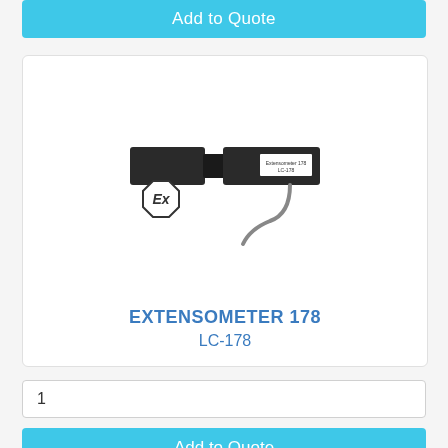Add to Quote
[Figure (photo): Extensometer 178 (LC-178) sensor device with ATEX explosion-proof Ex marking symbol. The device is a rectangular black sensor with a cable, and bears a label. The ATEX Ex hexagon logo is shown below the device.]
EXTENSOMETER 178
LC-178
1
Add to Quote